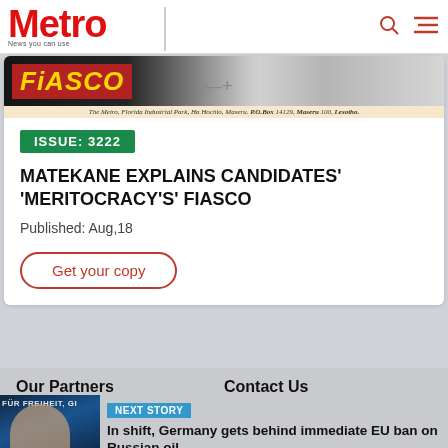Metro — News you can use
[Figure (screenshot): Cropped newspaper front page showing FIASCO headline in yellow on dark background with address bar below]
ISSUE: 3222
MATEKANE EXPLAINS CANDIDATES' 'MERITOCRACY'S' FIASCO
Published: Aug,18
Get your copy
Our Partners
Contact Us
NEXT STORY
In shift, Germany gets behind immediate EU ban on Russian oil
Own Correspondent